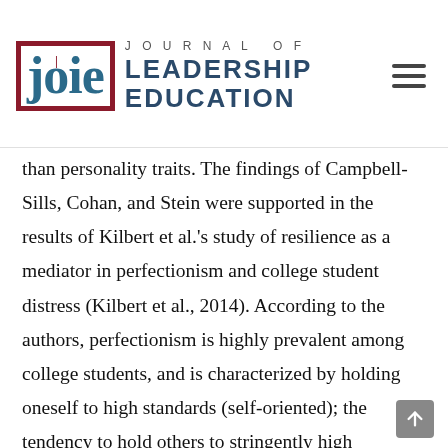Journal of Leadership Education
than personality traits. The findings of Campbell-Sills, Cohan, and Stein were supported in the results of Kilbert et al.'s study of resilience as a mediator in perfectionism and college student distress (Kilbert et al., 2014). According to the authors, perfectionism is highly prevalent among college students, and is characterized by holding oneself to high standards (self-oriented); the tendency to hold others to stringently high standards (other-oriented); or, the perception that others assume high and unrealistic expectations of one's behavior (socially prescribed) (Kilbert et al., 2014). The study results indicated that socially prescribed perfectionism is negatively related to resilience among college, which indicates that those